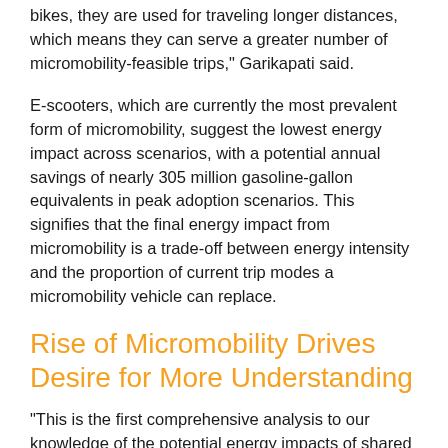bikes, they are used for traveling longer distances, which means they can serve a greater number of micromobility-feasible trips," Garikapati said.
E-scooters, which are currently the most prevalent form of micromobility, suggest the lowest energy impact across scenarios, with a potential annual savings of nearly 305 million gasoline-gallon equivalents in peak adoption scenarios. This signifies that the final energy impact from micromobility is a trade-off between energy intensity and the proportion of current trip modes a micromobility vehicle can replace.
Rise of Micromobility Drives Desire for More Understanding
"This is the first comprehensive analysis to our knowledge of the potential energy impacts of shared micromobility," Sun said. "This is just the beginning, we're still at the